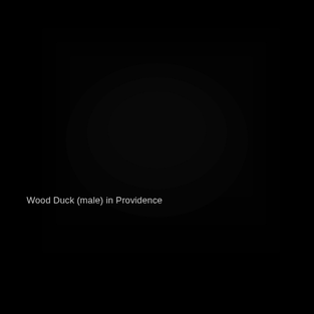[Figure (photo): Nearly entirely black image, likely a very dark or underexposed photograph of a Wood Duck (male) in Providence. The image appears almost completely black with very slight tonal variation suggesting a dark environment.]
Wood Duck (male) in Providence